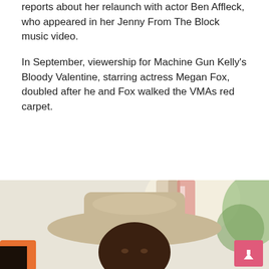reports about her relaunch with actor Ben Affleck, who appeared in her Jenny From The Block music video.
In September, viewership for Machine Gun Kelly's Bloody Valentine, starring actress Megan Fox, doubled after he and Fox walked the VMAs red carpet.
[Figure (photo): Close-up photo of a young Black man wearing a wide-brimmed tan cowboy hat, looking at the camera, with a blurred outdoor background. A pink scroll-to-top button appears in the bottom right corner.]